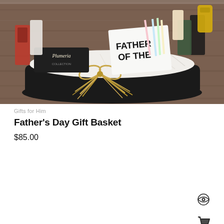[Figure (photo): A Father's Day gift basket filled with various items including snacks, a 'FATHER OF THE...' sign, a Plumeria branded item, and decorative raffia bow, displayed on a wooden surface.]
Gifts for Him
Father's Day Gift Basket
$85.00